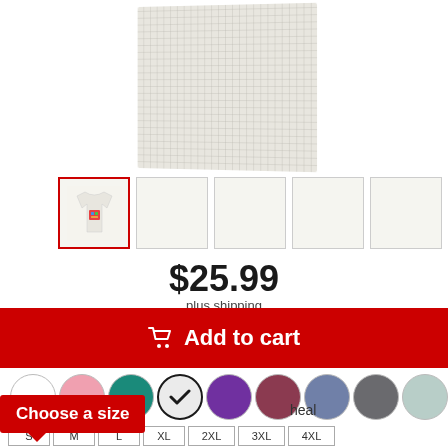[Figure (photo): Light cream/oatmeal colored t-shirt laid flat, showing fabric texture]
[Figure (photo): Thumbnail row with 5 product images; first thumbnail selected (red border) showing t-shirt with colorful graphic print]
$25.99
plus shipping
Add to cart
[Figure (other): Row of color swatches: white, pink, teal, dark (selected with checkmark), purple, dark red/mauve, slate blue, dark gray, light mint]
Choose a size
S  M  L  XL  2XL  3XL  4XL